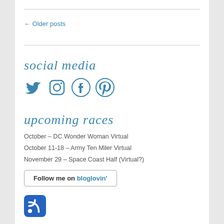← Older posts
social media
[Figure (illustration): Social media icons: Twitter bird, Instagram camera, Facebook f, Pinterest P — all in steel blue color]
upcoming races
October – DC Wonder Woman Virtual
October 11-18 – Army Ten Miler Virtual
November 29 – Space Coast Half (Virtual?)
[Figure (illustration): Follow me on bloglovin' button — rectangular bordered button with bold text]
[Figure (logo): RSS feed icon — blue rounded square with white RSS signal waves]